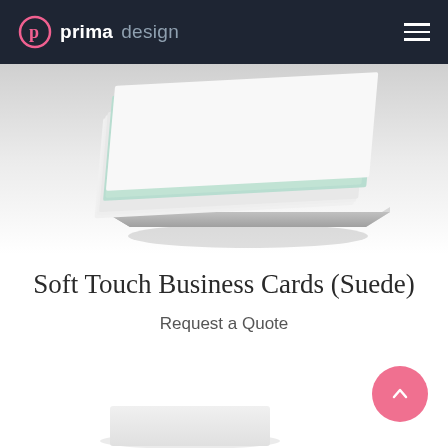prima design
[Figure (photo): Stack of business cards with soft touch / suede lamination, showing mint green and white cards in a neat pile, photographed against a white background with soft shadows.]
Soft Touch Business Cards (Suede)
Request a Quote
[Figure (photo): Partial view of business card at the bottom of the page, mostly cropped out.]